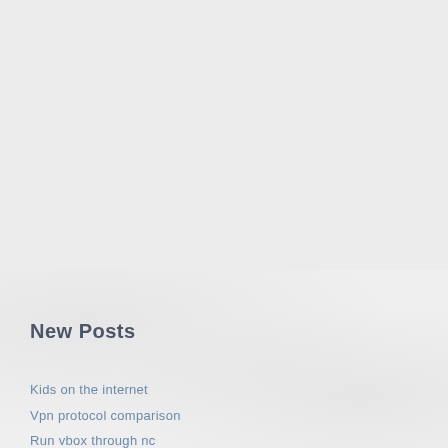1
2
>
New Posts
Kids on the internet
Vpn protocol comparison
Run vbox through nc